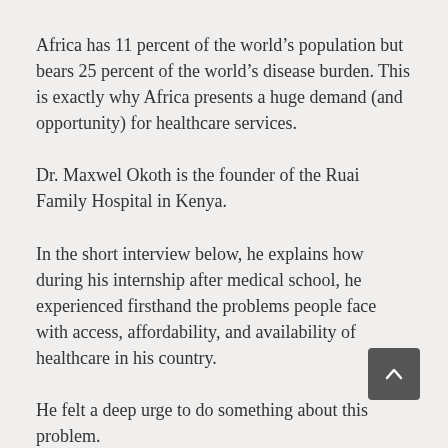Africa has 11 percent of the world's population but bears 25 percent of the world's disease burden. This is exactly why Africa presents a huge demand (and opportunity) for healthcare services.
Dr. Maxwel Okoth is the founder of the Ruai Family Hospital in Kenya.
In the short interview below, he explains how during his internship after medical school, he experienced firsthand the problems people face with access, affordability, and availability of healthcare in his country.
He felt a deep urge to do something about this problem.
Armed with only his vision, a strong determination